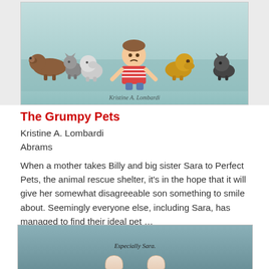[Figure (photo): Book cover illustration of The Grumpy Pets showing a boy in a striped shirt sitting among various dogs and cats. Author name 'Kristine A. Lombardi' is written at the bottom of the illustration.]
The Grumpy Pets
Kristine A. Lombardi
Abrams
When a mother takes Billy and big sister Sara to Perfect Pets, the animal rescue shelter, it's in the hope that it will give her somewhat disagreeable son something to smile about. Seemingly everyone else, including Sara, has managed to find their ideal pet …
[Figure (photo): Interior book illustration showing a teal/grey background with small figures at the bottom and the text 'Especially Sara.' written in the middle of the image.]